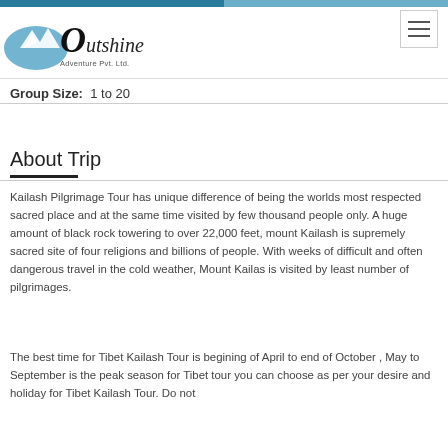[Figure (logo): Outshine Adventure Pvt. Ltd. logo with mountain illustration and italic text]
Group Size: 1 to 20
About Trip
Kailash Pilgrimage Tour has unique difference of being the worlds most respected sacred place and at the same time visited by few thousand people only. A huge amount of black rock towering to over 22,000 feet, mount Kailash is supremely sacred site of four religions and billions of people. With weeks of difficult and often dangerous travel in the cold weather, Mount Kailas is visited by least number of pilgrimages.
The best time for Tibet Kailash Tour is begining of April to end of October , May to September is the peak season for Tibet tour you can choose as per your desire and holiday for Tibet Kailash Tour. Do not